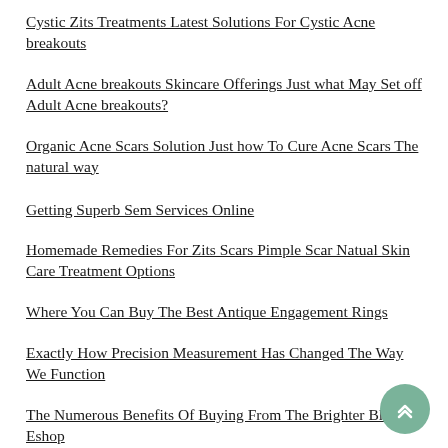Cystic Zits Treatments Latest Solutions For Cystic Acne breakouts
Adult Acne breakouts Skincare Offerings Just what May Set off Adult Acne breakouts?
Organic Acne Scars Solution Just how To Cure Acne Scars The natural way
Getting Superb Sem Services Online
Homemade Remedies For Zits Scars Pimple Scar Natual Skin Care Treatment Options
Where You Can Buy The Best Antique Engagement Rings
Exactly How Precision Measurement Has Changed The Way We Function
The Numerous Benefits Of Buying From The Brighter Blooms Eshop
Choosing Used Trailers Just Got Easier